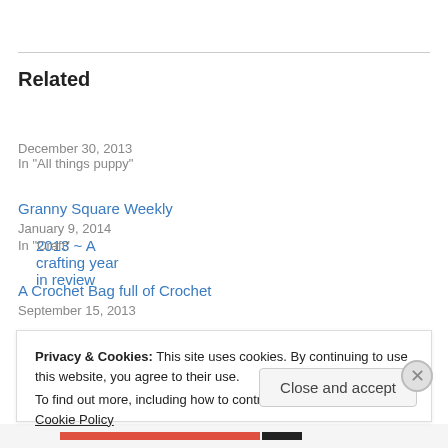Related
2013 ~ A crafting year in review
December 30, 2013
In "All things puppy"
Granny Square Weekly
January 9, 2014
In "Craft"
A Crochet Bag full of Crochet
September 15, 2013
Privacy & Cookies: This site uses cookies. By continuing to use this website, you agree to their use.
To find out more, including how to control cookies, see here: Cookie Policy